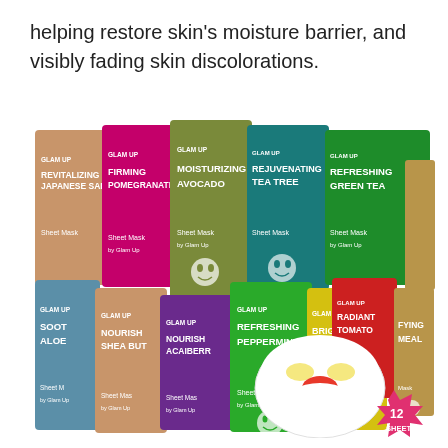helping restore skin's moisture barrier, and visibly fading skin discolorations.
[Figure (photo): A collection of GLAM UP sheet mask packets in various colors and flavors including Revitalizing Japanese Sake, Firming Pomegranate, Moisturizing Avocado, Rejuvenating Tea Tree, Refreshing Green Tea, Soothing Aloe, Nourishing Shea Butter, Nourishing Acaiberry, Refreshing Peppermint, Brightening Lemon, Radiant Tomato, and others. A white sheet mask is displayed in front with a red nose piece. A pink starburst badge reads '12 SHEETS'.]